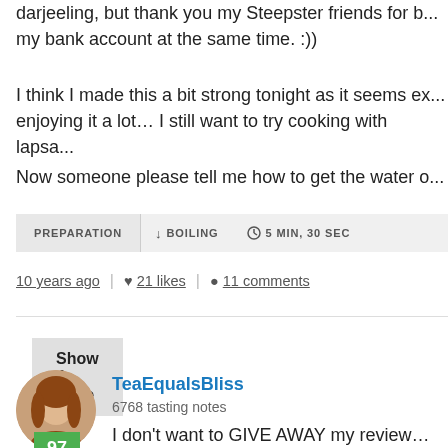darjeeling, but thank you my Steepster friends for b... my bank account at the same time. :))
I think I made this a bit strong tonight as it seems ex... enjoying it a lot… I still want to try cooking with lapsa...
Now someone please tell me how to get the water o...
PREPARATION  ↓ BOILING  ⊙ 5 MIN, 30 SEC
10 years ago  |  ♥ 21 likes  |  ● 11 comments
Show 4 More
TeaEqualsBliss
6768 tasting notes
I don't want to GIVE AWAY my review…but…